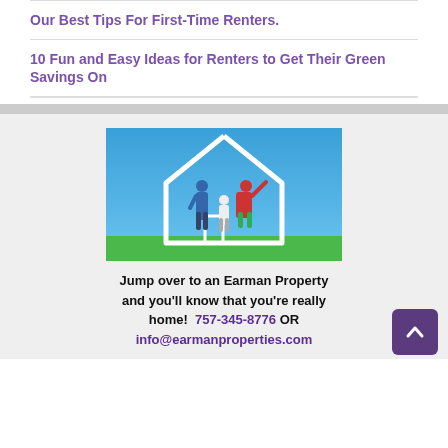Our Best Tips For First-Time Renters.
10 Fun and Easy Ideas for Renters to Get Their Green Savings On
[Figure (photo): A family of three jumping joyfully inside a white house outline illustration against a blue sky and green grass background.]
Jump over to an Earman Property and you'll know that you're really home! 757-345-8776 OR info@earmanproperties.com